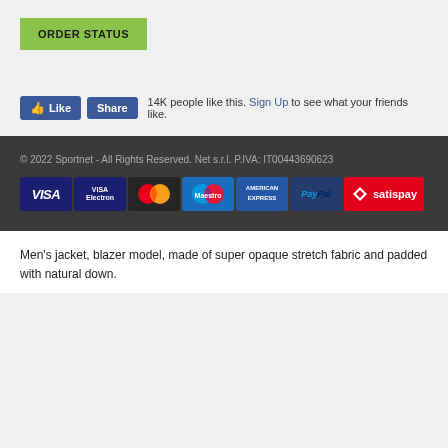ORDER STATUS
[Figure (screenshot): Facebook Like and Share buttons with text '14K people like this. Sign Up to see what your friends like.']
© 2022 Sportnet - All Rights Reserved. Net s.r.l. P.IVA: IT00443690623
[Figure (infographic): Payment method logos: VISA, VISA Electron, MasterCard, Maestro, American Express, PayPal, Satispay]
Men's jacket, blazer model, made of super opaque stretch fabric and padded with natural down.